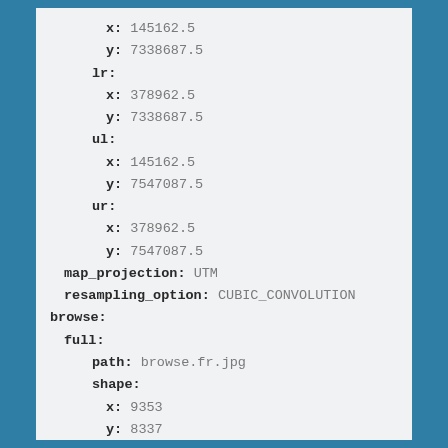x: 145162.5
y: 7338687.5
lr:
  x: 378962.5
  y: 7338687.5
ul:
  x: 145162.5
  y: 7547087.5
ur:
  x: 378962.5
  y: 7547087.5
map_projection: UTM
resampling_option: CUBIC_CONVOLUTION
browse:
  full:
    path: browse.fr.jpg
    shape:
      x: 9353
      y: 8337
    red_band: pna